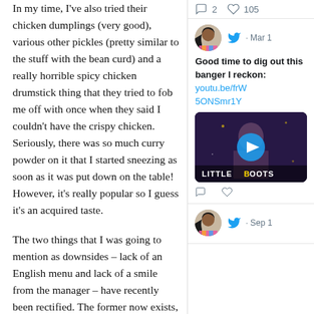In my time, I've also tried their chicken dumplings (very good), various other pickles (pretty similar to the stuff with the bean curd) and a really horrible spicy chicken drumstick thing that they tried to fob me off with once when they said I couldn't have the crispy chicken. Seriously, there was so much curry powder on it that I started sneezing as soon as it was put down on the table! However, it's really popular so I guess it's an acquired taste.
The two things that I was going to mention as downsides – lack of an English menu and lack of a smile from the manager – have recently been rectified. The former now exists, whilst, in the time-honoured tradition of all seemingly surly cha cha teng waiters, we've gradually broken down the manager by our sheer number of visits and he's become much friendlier (he
[Figure (screenshot): Twitter/social media sidebar with tweet cards. First card shows 2 comments, 105 likes. Second card shows a tweet with avatar, Mar date, text 'Good time to dig out this banger I reckon: youtu.be/frW5ONSmr1Y' with a Little Boots music video thumbnail. Third card shows avatar and Sep date.]